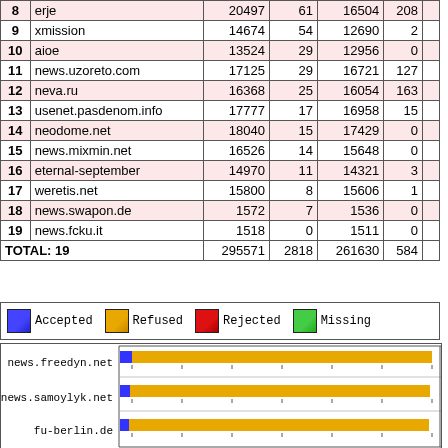| # | Server | Col3 | Col4 | Col5 | Col6 |  |
| --- | --- | --- | --- | --- | --- | --- |
| 8 | erje | 20497 | 61 | 16504 | 208 |  |
| 9 | xmission | 14674 | 54 | 12690 | 2 |  |
| 10 | aioe | 13524 | 29 | 12956 | 0 |  |
| 11 | news.uzoreto.com | 17125 | 29 | 16721 | 127 |  |
| 12 | neva.ru | 16368 | 25 | 16054 | 163 |  |
| 13 | usenet.pasdenom.info | 17777 | 17 | 16958 | 15 |  |
| 14 | neodome.net | 18040 | 15 | 17429 | 0 |  |
| 15 | news.mixmin.net | 16526 | 14 | 15648 | 0 |  |
| 16 | eternal-september | 14970 | 11 | 14321 | 3 |  |
| 17 | weretis.net | 15800 | 8 | 15606 | 1 |  |
| 18 | news.swapon.de | 1572 | 7 | 1536 | 0 |  |
| 19 | news.fcku.it | 1518 | 0 | 1511 | 0 |  |
| TOTAL: 19 |  | 295571 | 2818 | 261630 | 584 |  |
[Figure (bar-chart): Horizontal stacked bar chart showing news servers with bars for Accepted (blue), Refused (orange/yellow), Rejected (red), Missing (green). Servers shown: news.freedyn.net, news.samoylyk.net, fu-berlin.de]